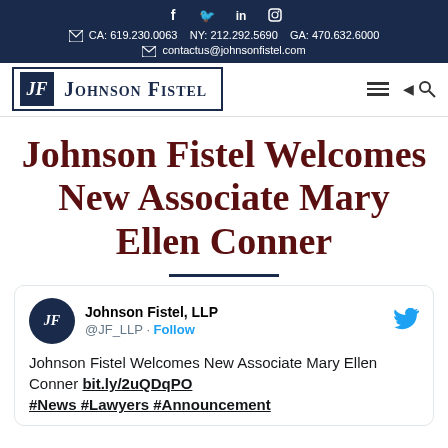CA: 619.230.0063   NY: 212.292.5690   GA: 470.632.6000   contactus@johnsonfistel.com
[Figure (logo): Johnson Fistel law firm logo with JF monogram and text]
Johnson Fistel Welcomes New Associate Mary Ellen Conner
[Figure (screenshot): Embedded tweet from @JF_LLP: Johnson Fistel Welcomes New Associate Mary Ellen Conner bit.ly/2uQDqPO #News #Lawyers #Announcement]